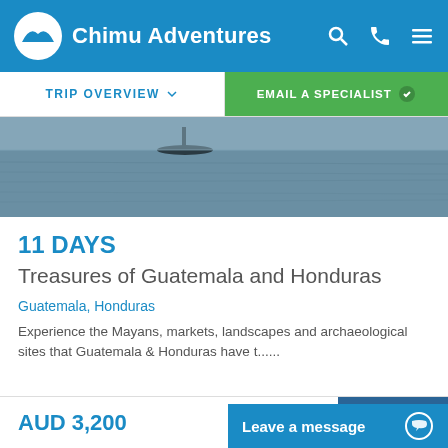Chimu Adventures
[Figure (screenshot): Navigation bar with TRIP OVERVIEW and EMAIL A SPECIALIST buttons]
[Figure (photo): Seascape with a boat on calm water, partially visible at top]
11 DAYS
Treasures of Guatemala and Honduras
Guatemala, Honduras
Experience the Mayans, markets, landscapes and archaeological sites that Guatemala & Honduras have t......
AUD 3,200
MORE >
Leave a message